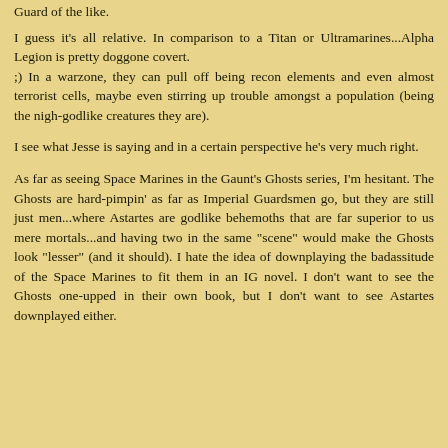Guard of the like.
I guess it's all relative. In comparison to a Titan or Ultramarines...Alpha Legion is pretty doggone covert.
;) In a warzone, they can pull off being recon elements and even almost terrorist cells, maybe even stirring up trouble amongst a population (being the nigh-godlike creatures they are).
I see what Jesse is saying and in a certain perspective he's very much right.
As far as seeing Space Marines in the Gaunt's Ghosts series, I'm hesitant. The Ghosts are hard-pimpin' as far as Imperial Guardsmen go, but they are still just men...where Astartes are godlike behemoths that are far superior to us mere mortals...and having two in the same "scene" would make the Ghosts look "lesser" (and it should). I hate the idea of downplaying the badassitude of the Space Marines to fit them in an IG novel. I don't want to see the Ghosts one-upped in their own book, but I don't want to see Astartes downplayed either.